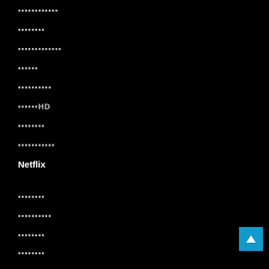▪▪▪▪▪▪▪▪▪▪▪▪
▪▪▪▪▪▪▪▪
▪▪▪▪▪▪▪▪▪▪▪▪▪
▪▪▪▪▪▪
▪▪▪▪▪▪▪▪▪▪
▪▪▪▪▪▪HD
▪▪▪▪▪▪▪▪
▪▪▪▪▪▪▪▪▪▪▪
Netflix
▪▪▪▪▪▪▪▪
▪▪▪▪▪▪▪▪▪▪
▪▪▪▪▪▪▪▪
▪▪▪▪▪▪▪▪
▪▪▪▪▪▪▪▪▪▪▪▪
▪▪▪▪▪